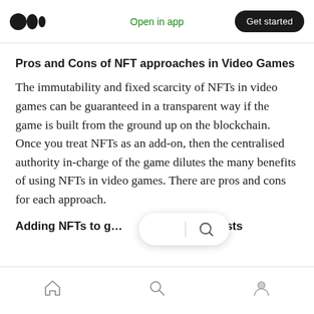Open in app | Get started
Pros and Cons of NFT approaches in Video Games
The immutability and fixed scarcity of NFTs in video games can be guaranteed in a transparent way if the game is built from the ground up on the blockchain. Once you treat NFTs as an add-on, then the centralised authority in-charge of the game dilutes the many benefits of using NFTs in video games. There are pros and cons for each approach.
Adding NFTs to g… …ready exists
Home | Search | Profile